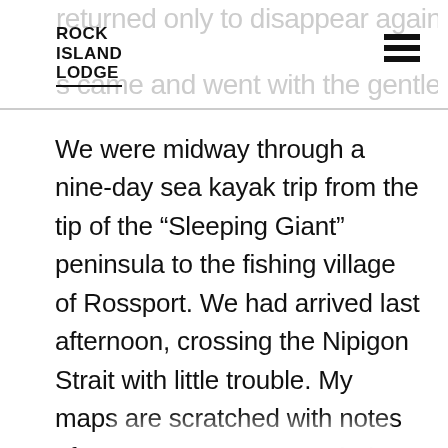returned only to disappear again as the fog — s came and went with the gentle breeze
[Figure (logo): Rock Island Lodge logo in bold black uppercase text with underline]
We were midway through a nine-day sea kayak trip from the tip of the “Sleeping Giant” peninsula to the fishing village of Rossport. We had arrived last afternoon, crossing the Nipigon Strait with little trouble. My maps are scratched with notes of “Danger!” “Waves!” “Wind!” “Caution!” at key points from guides before me. The strait was one of them. We were now in the relative shelter of the massive St. Ignace Island, camped among the islands dotting its southern shore. Each unique island is rich with history...